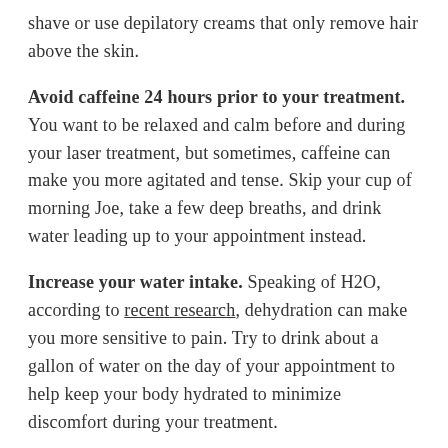shave or use depilatory creams that only remove hair above the skin.
Avoid caffeine 24 hours prior to your treatment. You want to be relaxed and calm before and during your laser treatment, but sometimes, caffeine can make you more agitated and tense. Skip your cup of morning Joe, take a few deep breaths, and drink water leading up to your appointment instead.
Increase your water intake. Speaking of H2O, according to recent research, dehydration can make you more sensitive to pain. Try to drink about a gallon of water on the day of your appointment to help keep your body hydrated to minimize discomfort during your treatment.
Shave the treatment area. For the best results, it...